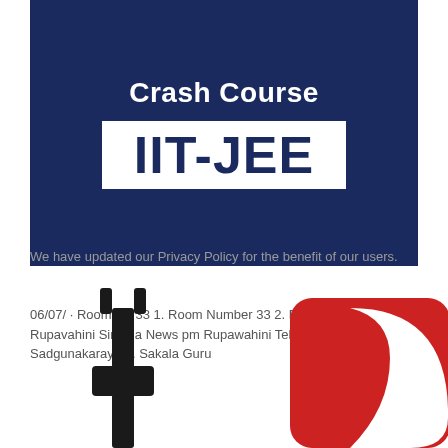[Figure (illustration): Dark navy blue banner with 'Crash Course' text in white bold font above a white rectangular box containing 'IIT-JEE' in large dark navy bold font]
We have updated our Privacy Policy for the benefit of our users.
06/07/ · Room No 33 1. Room Number 33 2. Rupavahini News 5. Rupavahini Sinhala News pm Rupawahini Teledrama Sadgunakaraya 4. Sakala Guru
[Figure (illustration): Bottom section showing a black electrical plug icon on the left and a red rounded square logo partially visible on the right]